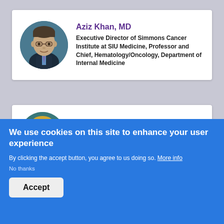[Figure (photo): Circular headshot of Aziz Khan, MD — a man with glasses wearing a dark suit]
Aziz Khan, MD
Executive Director of Simmons Cancer Institute at SIU Medicine, Professor and Chief, Hematology/Oncology, Department of Internal Medicine
[Figure (photo): Circular headshot of Laura Law, PA-C — a woman with blonde hair smiling]
Laura Law, PA-C
Instructor of Family and Community Medicine
We use cookies on this site to enhance your user experience
By clicking the accept button, you agree to us doing so. More info
No thanks